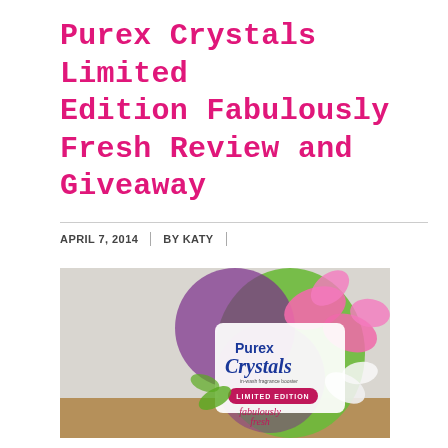Purex Crystals Limited Edition Fabulously Fresh Review and Giveaway
APRIL 7, 2014 | BY KATY
[Figure (photo): Photo of Purex Crystals Limited Edition Fabulously Fresh laundry fragrance booster bottle with pink and green floral packaging]